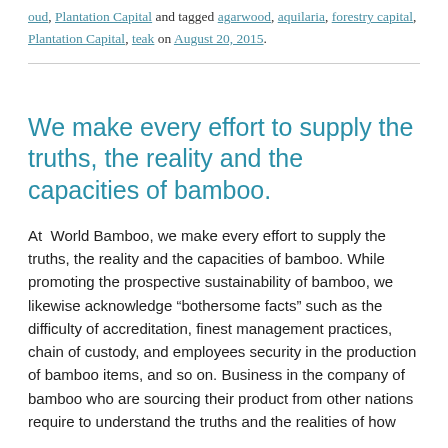oud, Plantation Capital and tagged agarwood, aquilaria, forestry capital, Plantation Capital, teak on August 20, 2015.
We make every effort to supply the truths, the reality and the capacities of bamboo.
At World Bamboo, we make every effort to supply the truths, the reality and the capacities of bamboo. While promoting the prospective sustainability of bamboo, we likewise acknowledge “bothersome facts” such as the difficulty of accreditation, finest management practices, chain of custody, and employees security in the production of bamboo items, and so on. Business in the company of bamboo who are sourcing their product from other nations require to understand the truths and the realities of how